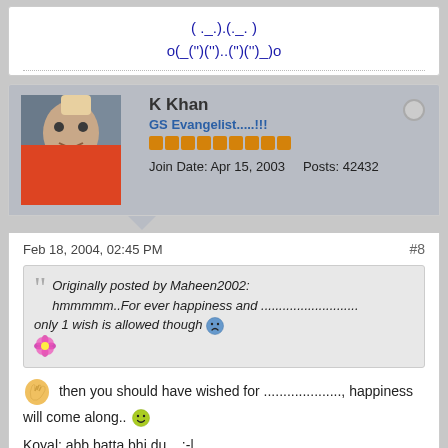( ._.).(._. )
o(_('')('')..('')('')_)o
K Khan
GS Evangelist.....!!!
Join Date: Apr 15, 2003   Posts: 42432
Feb 18, 2004, 02:45 PM
#8
Originally posted by Maheen2002:
hmmmmm..For ever happiness and ...........................
only 1 wish is allowed though
then you should have wished for ...................., happiness will come along..
Koyal: abb batta bhi du .. :-|